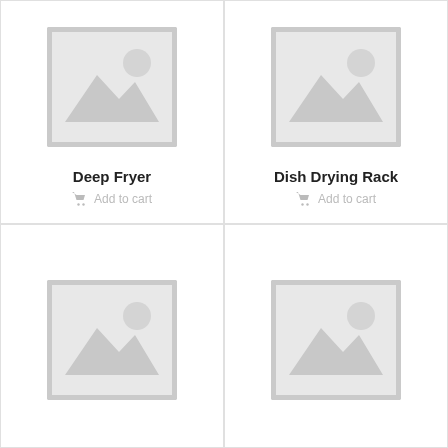[Figure (illustration): Placeholder product image for Deep Fryer - grey image placeholder icon with mountain and sun]
Deep Fryer
Add to cart
[Figure (illustration): Placeholder product image for Dish Drying Rack - grey image placeholder icon with mountain and sun]
Dish Drying Rack
Add to cart
[Figure (illustration): Placeholder product image - grey image placeholder icon with mountain and sun]
[Figure (illustration): Placeholder product image - grey image placeholder icon with mountain and sun]